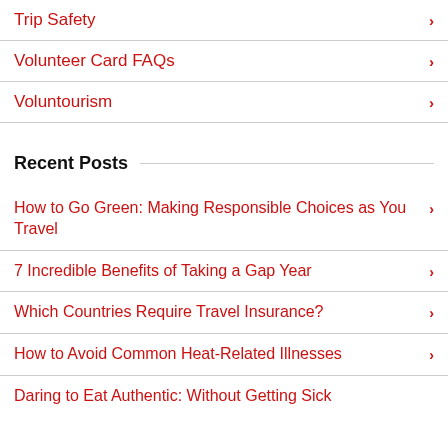Trip Safety
Volunteer Card FAQs
Voluntourism
Recent Posts
How to Go Green: Making Responsible Choices as You Travel
7 Incredible Benefits of Taking a Gap Year
Which Countries Require Travel Insurance?
How to Avoid Common Heat-Related Illnesses
Daring to Eat Authentic: Without Getting Sick